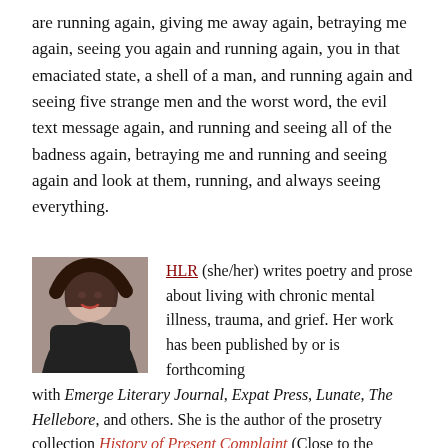are running again, giving me away again, betraying me again, seeing you again and running again, you in that emaciated state, a shell of a man, and running again and seeing five strange men and the worst word, the evil text message again, and running and seeing all of the badness again, betraying me and running and seeing again and look at them, running, and always seeing everything.
[Figure (photo): Author photo of HLR, a woman with dark hair and red lipstick wearing a dark top]
HLR (she/her) writes poetry and prose about living with chronic mental illness, trauma, and grief. Her work has been published by or is forthcoming with Emerge Literary Journal, Expat Press, Lunate, The Hellebore, and others. She is the author of the prosetry collection History of Present Complaint (Close to the